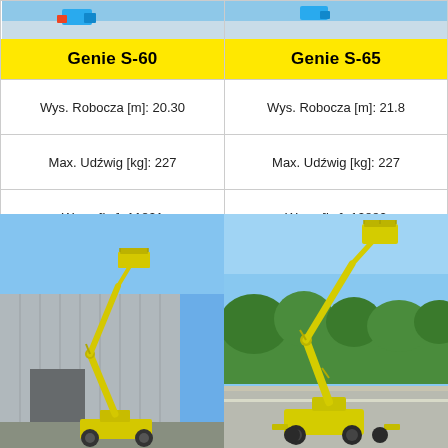[Figure (photo): Partial top image of Genie S-60 aerial lift (top portion visible, crane arm and machine top)]
Genie S-60
Wys. Robocza [m]: 20.30
Max. Udźwig [kg]: 227
Waga [kg]: 11821
[Figure (photo): Partial top image of Genie S-65 aerial lift (top portion visible)]
Genie S-65
Wys. Robocza [m]: 21.8
Max. Udźwig [kg]: 227
Waga [kg]: 12882
[Figure (photo): Yellow Genie S-60 boom lift extended in front of grey industrial building, clear blue sky]
[Figure (photo): Yellow Haulotte boom lift fully extended outdoors, trees and road in background, clear sky]